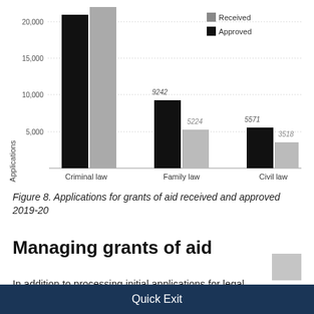[Figure (grouped-bar-chart): Applications for grants of aid received and approved 2019-20]
Figure 8. Applications for grants of aid received and approved 2019-20
Managing grants of aid
In addition to processing initial applications for legal
Quick Exit